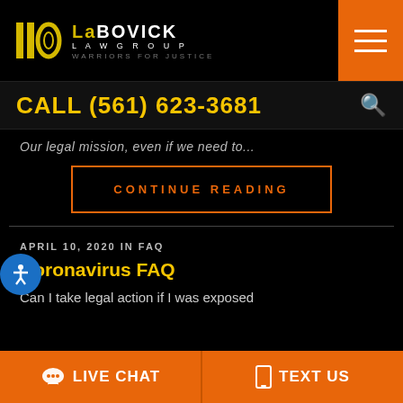[Figure (logo): LaBovick Law Group logo with yellow icon and text, tagline WARRIORS FOR JUSTICE]
[Figure (other): Orange hamburger menu button with three white lines]
CALL (561) 623-3681
[Figure (other): Search icon (magnifying glass)]
Our legal mission, even if we need to...
CONTINUE READING
[Figure (other): Blue circular accessibility icon with person figure]
APRIL 10, 2020 IN FAQ
Coronavirus FAQ
Can I take legal action if I was exposed
LIVE CHAT
TEXT US